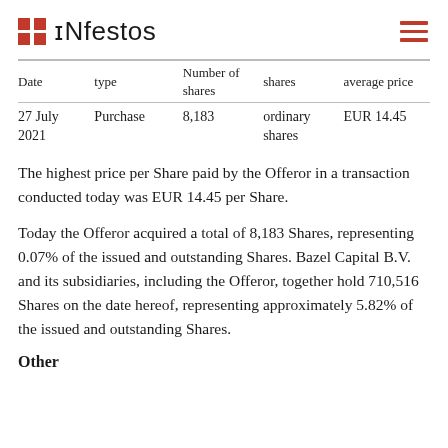Infestos
| Date | Transaction type | Number of shares | shares | average price |
| --- | --- | --- | --- | --- |
| 27 July 2021 | Purchase | 8,183 | ordinary shares | EUR 14.45 |
The highest price per Share paid by the Offeror in a transaction conducted today was EUR 14.45 per Share.
Today the Offeror acquired a total of 8,183 Shares, representing 0.07% of the issued and outstanding Shares. Bazel Capital B.V. and its subsidiaries, including the Offeror, together hold 710,516 Shares on the date hereof, representing approximately 5.82% of the issued and outstanding Shares.
Other